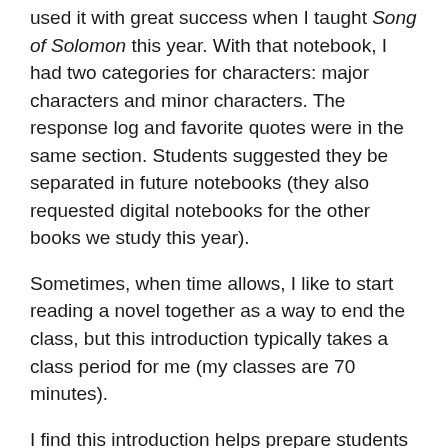used it with great success when I taught Song of Solomon this year. With that notebook, I had two categories for characters: major characters and minor characters. The response log and favorite quotes were in the same section. Students suggested they be separated in future notebooks (they also requested digital notebooks for the other books we study this year).
Sometimes, when time allows, I like to start reading a novel together as a way to end the class, but this introduction typically takes a class period for me (my classes are 70 minutes).
I find this introduction helps prepare students for the novel's setting and gives them a feel for what they will read. The article on inherited trauma primes them to think about how the intergenerational trauma of racism, colonialism, and